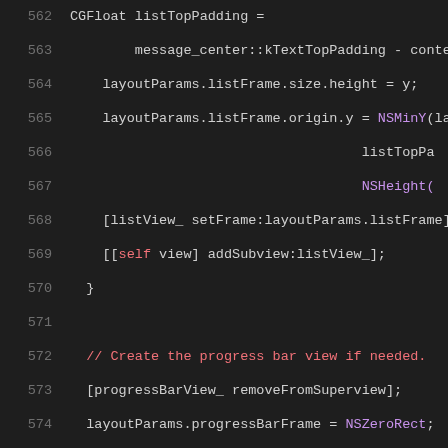[Figure (screenshot): Source code screenshot showing Objective-C code lines 562-583, dark theme editor, monospace font. Code involves layout parameters for list frame and progress bar frame.]